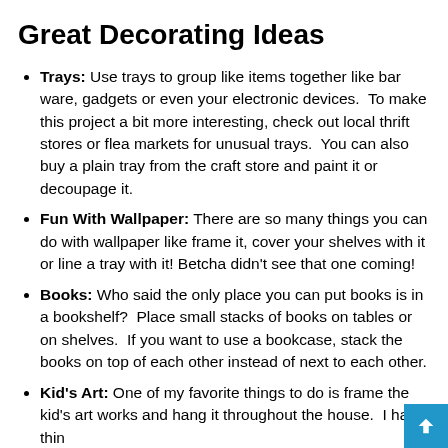Great Decorating Ideas
Trays: Use trays to group like items together like bar ware, gadgets or even your electronic devices.  To make this project a bit more interesting, check out local thrift stores or flea markets for unusual trays.  You can also buy a plain tray from the craft store and paint it or decoupage it.
Fun With Wallpaper: There are so many things you can do with wallpaper like frame it, cover your shelves with it or line a tray with it! Betcha didn't see that one coming!
Books: Who said the only place you can put books is in a bookshelf?  Place small stacks of books on tables or on shelves.  If you want to use a bookcase, stack the books on top of each other instead of next to each other.
Kid's Art: One of my favorite things to do is frame the kid's art works and hang it throughout the house.  I have thin the kids have made at school as well as projects we have